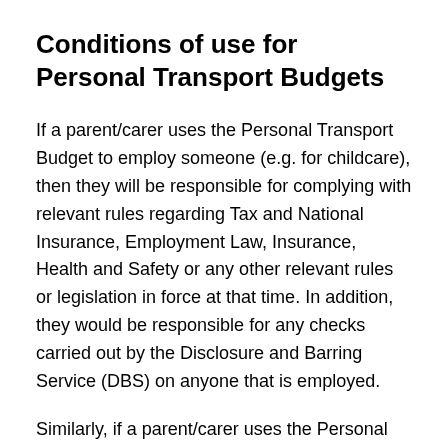Conditions of use for Personal Transport Budgets
If a parent/carer uses the Personal Transport Budget to employ someone (e.g. for childcare), then they will be responsible for complying with relevant rules regarding Tax and National Insurance, Employment Law, Insurance, Health and Safety or any other relevant rules or legislation in force at that time. In addition, they would be responsible for any checks carried out by the Disclosure and Barring Service (DBS) on anyone that is employed.
Similarly, if a parent/carer uses the Personal Transport Budget to enter into contracts with organisations e.g. after school clubs, or individuals